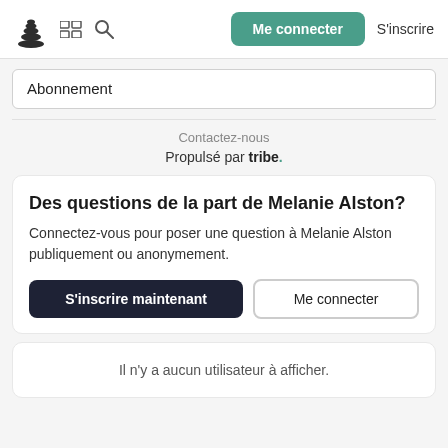Me connecter  S'inscrire
Abonnement
Contactez-nous
Propulsé par tribe.
Des questions de la part de Melanie Alston?
Connectez-vous pour poser une question à Melanie Alston publiquement ou anonymement.
S'inscrire maintenant    Me connecter
Il n'y a aucun utilisateur à afficher.